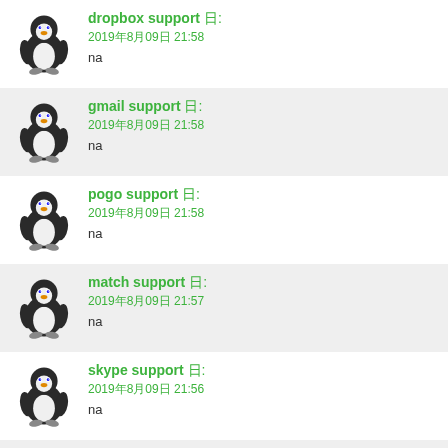dropbox support 日: 2019年8月09日 21:58 na
gmail support 日: 2019年8月09日 21:58 na
pogo support 日: 2019年8月09日 21:58 na
match support 日: 2019年8月09日 21:57 na
skype support 日: 2019年8月09日 21:56 na